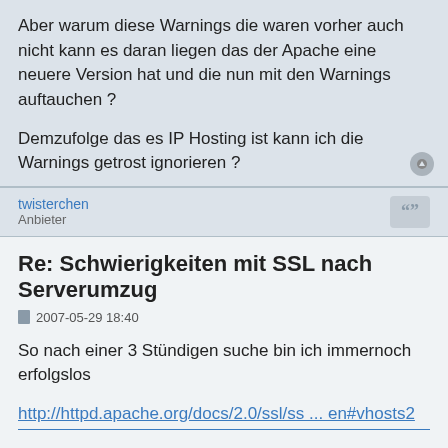Aber warum diese Warnings die waren vorher auch nicht kann es daran liegen das der Apache eine neuere Version hat und die nun mit den Warnings auftauchen ?
Demzufolge das es IP Hosting ist kann ich die Warnings getrost ignorieren ?
twisterchen
Anbieter
Re: Schwierigkeiten mit SSL nach Serverumzug
2007-05-29 18:40
So nach einer 3 Stündigen suche bin ich immernoch erfolgslos
http://httpd.apache.org/docs/2.0/ssl/ss ... en#vhosts2
das sagt mir eigentlich nur das was ich schon weis
Vielleicht könnt ihr mir einfach nur das mal beantworten